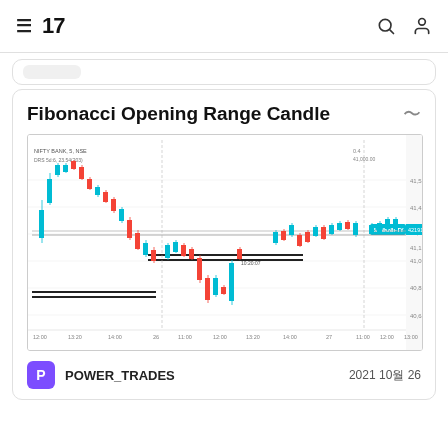TradingView navigation header
Fibonacci Opening Range Candle
[Figure (screenshot): Candlestick chart of NIFTY BANK 5-minute NSE data showing price action with teal/red candles, horizontal support/resistance lines, and BANKNIFTY label at ~42191.25 on the right axis. Y-axis shows values from ~40000 to ~41500 range. X-axis shows time from 12:00 through two trading sessions (26th and 27th).]
POWER_TRADES
2021 10월 26